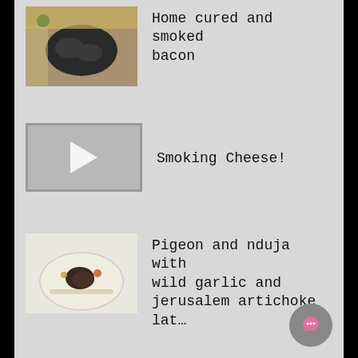Home cured and smoked bacon
Smoking Cheese!
Pigeon and nduja with wild garlic and jerusalem artichoke lat…
Marmasun for 2020